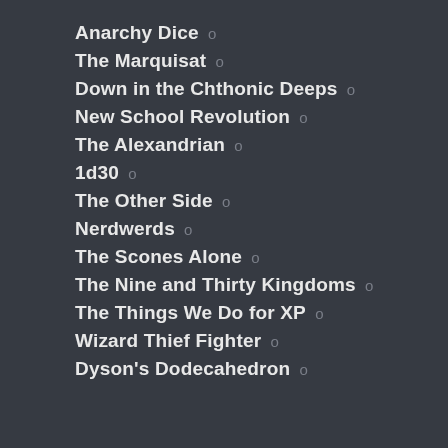Anarchy Dice o
The Marquisat o
Down in the Chthonic Deeps o
New School Revolution o
The Alexandrian o
1d30 o
The Other Side o
Nerdwerds o
The Scones Alone o
The Nine and Thirty Kingdoms o
The Things We Do for XP o
Wizard Thief Fighter o
Dyson's Dodecahedron o